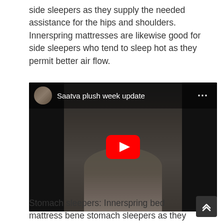side sleepers as they supply the needed assistance for the hips and shoulders. Innerspring mattresses are likewise good for side sleepers who tend to sleep hot as they permit better air flow.
[Figure (screenshot): YouTube video thumbnail showing 'Saatva plush week update' with a woman on a bed in a dark bedroom, YouTube play button overlay, and channel avatar in top left corner.]
Stomach sleepers: Innerspring bed mattress bene stomach sleepers as they supply the necessary